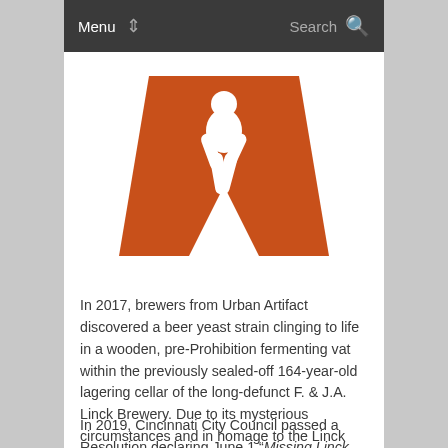Menu  Search
[Figure (logo): Orange trapezoid-shaped logo with white silhouette of a person (bigfoot/sasquatch-like figure) walking, Urban Artifact brewery logo]
In 2017, brewers from Urban Artifact discovered a beer yeast strain clinging to life in a wooden, pre-Prohibition fermenting vat within the previously sealed-off 164-year-old lagering cellar of the long-defunct F. & J.A. Linck Brewery. Due to its mysterious circumstances and in homage to the Linck Brewery, the yeast was named Missing Linck.
In 2019, Cincinnati City Council passed a Resolution declaring June 1 "Missing Linck Day." The Resolution both honored the discovery of the yeast, the storied history of F. &